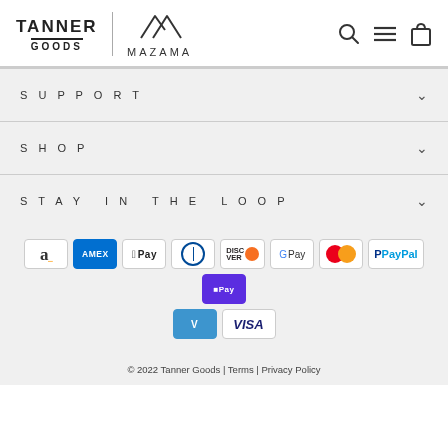[Figure (logo): Tanner Goods | Mazama logo with navigation icons (search, hamburger menu, bag)]
SUPPORT
SHOP
STAY IN THE LOOP
[Figure (infographic): Payment method icons: Amazon, Amex, Apple Pay, Diners, Discover, Google Pay, Mastercard, PayPal, OPay, Venmo, Visa]
© 2022 Tanner Goods | Terms | Privacy Policy